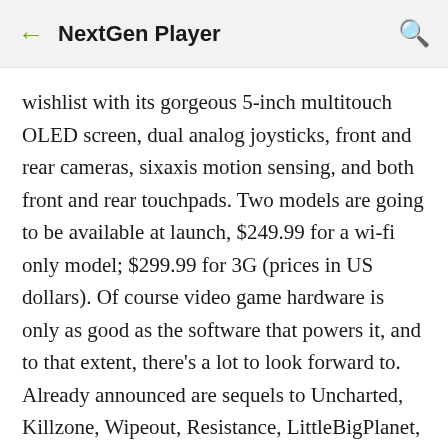NextGen Player
wishlist with its gorgeous 5-inch multitouch OLED screen, dual analog joysticks, front and rear cameras, sixaxis motion sensing, and both front and rear touchpads. Two models are going to be available at launch, $249.99 for a wi-fi only model; $299.99 for 3G (prices in US dollars). Of course video game hardware is only as good as the software that powers it, and to that extent, there's a lot to look forward to. Already announced are sequels to Uncharted, Killzone, Wipeout, Resistance, LittleBigPlanet, Silent Hill, ModNation Racers, among others. Definitely